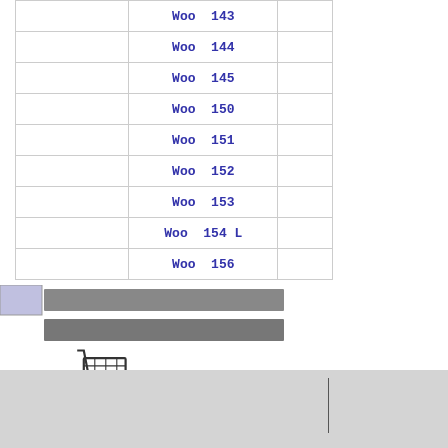|  |  |  |
| --- | --- | --- |
|  | Woo  143 |  |
|  | Woo  144 |  |
|  | Woo  145 |  |
|  | Woo  150 |  |
|  | Woo  151 |  |
|  | Woo  152 |  |
|  | Woo  153 |  |
|  | Woo  154 L |  |
|  | Woo  156 |  |
[Figure (screenshot): A UI element showing a blue box, two gray horizontal bars, and a shopping cart icon with a light gray bar below it.]